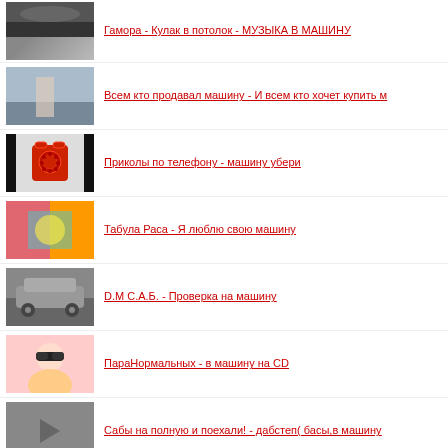Гамора - Кулак в потолок - МУЗЫКА В МАШИНУ
Всем кто продавал машину - И всем кто хочет купить м
Приколы по телефону - машину убери
Табула Раса - Я люблю свою машину
D.M С.А.Б. - Проверка на машину
ПараНормальных - в машину на CD
Сабы на полную и поехали! - дабстеп( басы,в машину
дж базука - Охуенный клубняк (баасы)
DFM Remix - Только зачем? Просто молчи.
Новинка-скрипка! - В машину